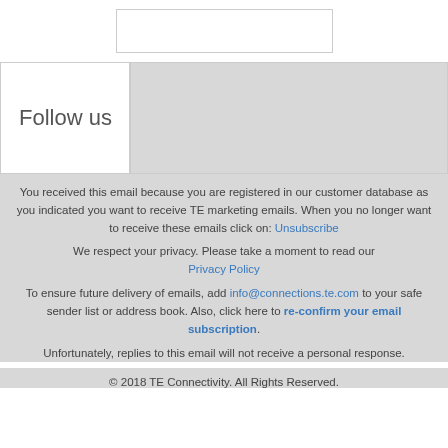[Figure (other): White input/text box element at top of page]
| Follow us |  |
You received this email because you are registered in our customer database as you indicated you want to receive TE marketing emails. When you no longer want to receive these emails click on: Unsubscribe
We respect your privacy. Please take a moment to read our Privacy Policy
To ensure future delivery of emails, add info@connections.te.com to your safe sender list or address book. Also, click here to re-confirm your email subscription.
Unfortunately, replies to this email will not receive a personal response.
© 2018 TE Connectivity. All Rights Reserved.